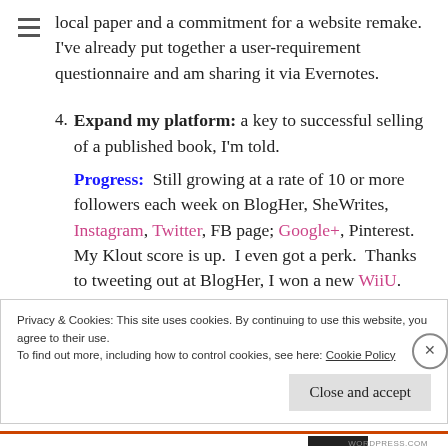local paper and a commitment for a website remake. I've already put together a user-requirement questionnaire and am sharing it via Evernotes.
4. Expand my platform: a key to successful selling of a published book, I'm told. Progress: Still growing at a rate of 10 or more followers each week on BlogHer, SheWrites, Instagram, Twitter, FB page; Google+, Pinterest. My Klout score is up. I even got a perk. Thanks to tweeting out at BlogHer, I won a new WiiU. (That's
Privacy & Cookies: This site uses cookies. By continuing to use this website, you agree to their use. To find out more, including how to control cookies, see here: Cookie Policy
Close and accept